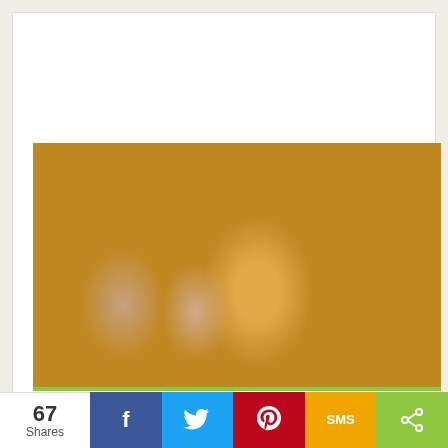[Figure (photo): Group of children smiling and waving from inside a wooden structure, outdoors at a summer camp setting. Children are of various ages, one wearing an orange jacket in the center.]
Find the Right Camp for Your
67 Shares